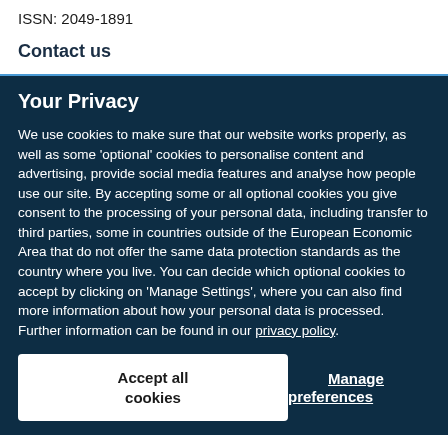ISSN: 2049-1891
Contact us
Your Privacy
We use cookies to make sure that our website works properly, as well as some 'optional' cookies to personalise content and advertising, provide social media features and analyse how people use our site. By accepting some or all optional cookies you give consent to the processing of your personal data, including transfer to third parties, some in countries outside of the European Economic Area that do not offer the same data protection standards as the country where you live. You can decide which optional cookies to accept by clicking on 'Manage Settings', where you can also find more information about how your personal data is processed. Further information can be found in our privacy policy.
Accept all cookies
Manage preferences